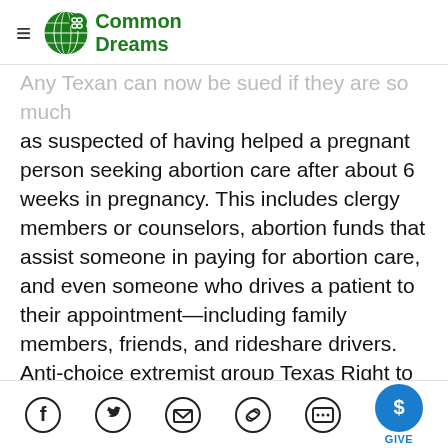Common Dreams
Any Texan can now be sued if they are so much as suspected of having helped a pregnant person seeking abortion care after about 6 weeks in pregnancy. This includes clergy members or counselors, abortion funds that assist someone in paying for abortion care, and even someone who drives a patient to their appointment—including family members, friends, and rideshare drivers. Anti-choice extremist group Texas Right to Life launched a website soliciting volunteers to initiate a flood of lawsuits aimed at shuttering clinics and intimidating pregnant people and